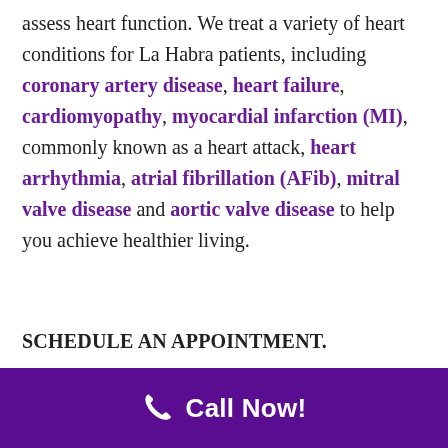assess heart function. We treat a variety of heart conditions for La Habra patients, including coronary artery disease, heart failure, cardiomyopathy, myocardial infarction (MI), commonly known as a heart attack, heart arrhythmia, atrial fibrillation (AFib), mitral valve disease and aortic valve disease to help you achieve healthier living.
SCHEDULE AN APPOINTMENT.
Call Now!